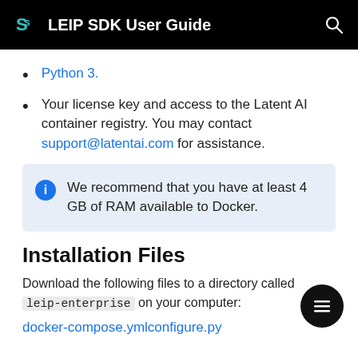LEIP SDK User Guide
Python 3.
Your license key and access to the Latent AI container registry. You may contact support@latentai.com for assistance.
We recommend that you have at least 4 GB of RAM available to Docker.
Installation Files
Download the following files to a directory called leip-enterprise on your computer:
docker-compose.ymlconfigure.py